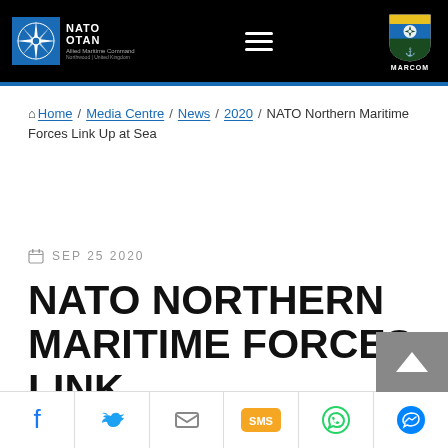NATO / OTAN Allied Maritime Command Northwood | United Kingdom — MARCOM
Home / Media Centre / News / 2020 / NATO Northern Maritime Forces Link Up at Sea
SEP 25 2020
NATO NORTHERN MARITIME FORCES LINK